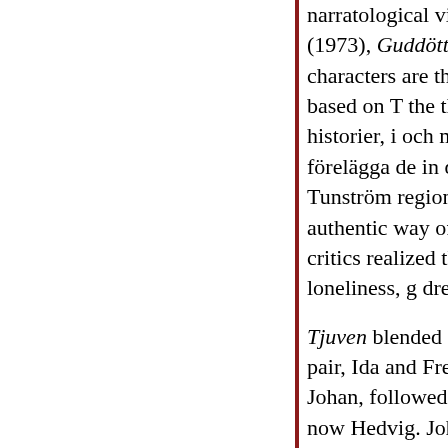narratological virtuosity. His early Sunne novels geograferna (1973), Guddöttrarna (1975), and R... two novels the central characters are the minister Wermelin and his wife Paula, loosely based on T... the third concerns their son Jacob, in search for h... "Alla historier, i och med att de berättas, är sanna... att du tvivlade, skall jag förelägga de in den verk... verkligheter." (from De heliga geograferna) Tunström... regional novelist, expressing his nostalgia for a s... more authentic way of life. However, with the su... and Tjuven (1986) critics realized that Sunne is T... existential setting for his characters' loneliness, g... dreams and hopes.
Tjuven blended fantasy, humor and mythology. I... unconventional pair, Ida and Fredrik Jonsson Lö... The story of the thirteenth child, Johan, followed... Swedish Orpheus into the Underworld to reclaim... now Hedvig. Johan believes that he can rise from... Hedvig by stealing the Codex Argenteus, a natio... Christian interest became apparent in Ökenbrevet... of his life before he enters upon his public missio... krav människan ställer på människan." Like Niko... Last Temptation of Christ (1955), Tunström focu... struggles to understand his true self. Upon accep... ...